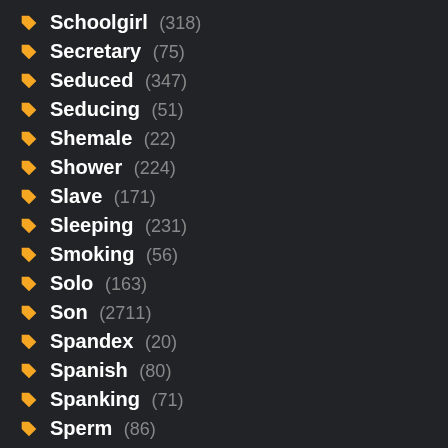Schoolgirl (318)
Secretary (75)
Seduced (347)
Seducing (51)
Shemale (22)
Shower (224)
Slave (171)
Sleeping (231)
Smoking (56)
Solo (163)
Son (2711)
Spandex (20)
Spanish (80)
Spanking (71)
Sperm (86)
Spy (282)
Squirt (621)